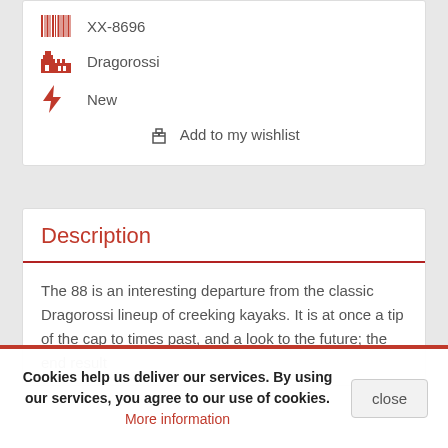XX-8696
Dragorossi
New
Add to my wishlist
Description
The 88 is an interesting departure from the classic Dragorossi lineup of creeking kayaks. It is at once a tip of the cap to times past, and a look to the future; the end result
Cookies help us deliver our services. By using our services, you agree to our use of cookies. More information